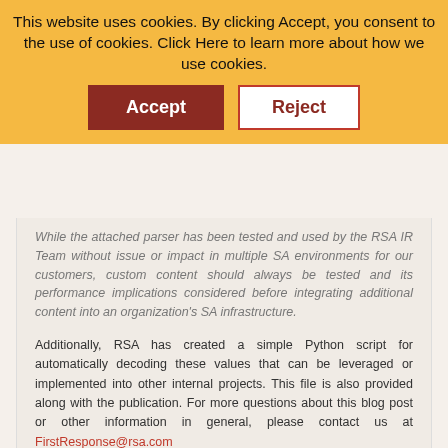This website uses cookies. By clicking Accept, you consent to the use of cookies. Click Here to learn more about how we use cookies.
Accept
Reject
While the attached parser has been tested and used by the RSA IR Team without issue or impact in multiple SA environments for our customers, custom content should always be tested and its performance implications considered before integrating additional content into an organization's SA infrastructure.
Additionally, RSA has created a simple Python script for automatically decoding these values that can be leveraged or implemented into other internal projects. This file is also provided along with the publication. For more questions about this blog post or other information in general, please contact us at FirstResponse@rsa.com
All of the files that were referenced in this blog can be